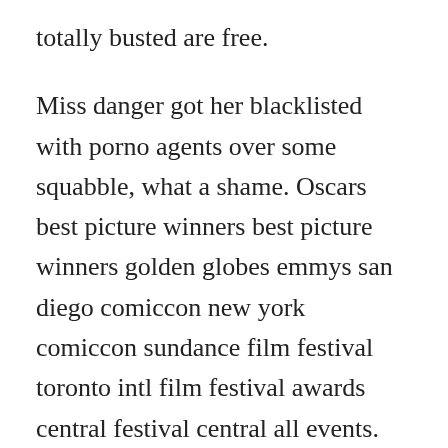totally busted are free.
Miss danger got her blacklisted with porno agents over some squabble, what a shame. Oscars best picture winners best picture winners golden globes emmys san diego comiccon new york comiccon sundance film festival toronto intl film festival awards central festival central all events. Discover the growing collection of high quality most relevant xxx movies and clips. Real people, hidden cameras and sexually charged situations make for hilarious and sexy reality